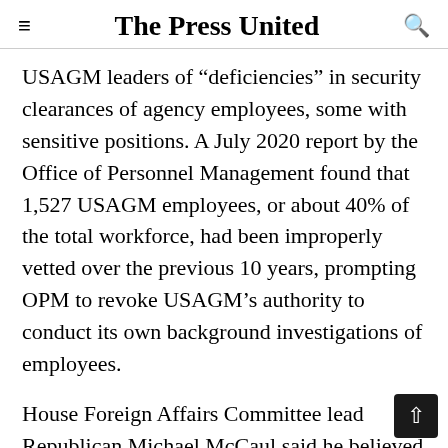The Press United
USAGM leaders of “deficiencies” in security clearances of agency employees, some with sensitive positions. A July 2020 report by the Office of Personnel Management found that 1,527 USAGM employees, or about 40% of the total workforce, had been improperly vetted over the previous 10 years, prompting OPM to revoke USAGM’s authority to conduct its own background investigations of employees.
House Foreign Affairs Committee lead Republican Michael McCaul said he believed Bennett did not face a “robust” round of